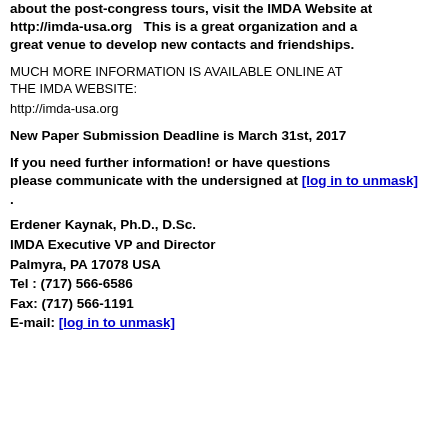about the post-congress tours, visit the IMDA Website at http://imda-usa.org  This is a great organization and a great venue to develop new contacts and friendships.
MUCH MORE INFORMATION IS AVAILABLE ONLINE AT THE IMDA WEBSITE:
http://imda-usa.org
New Paper Submission Deadline is March 31st, 2017
If you need further information! or have questions please communicate with the undersigned at [log in to unmask]
.
Erdener Kaynak, Ph.D., D.Sc.
IMDA Executive VP and Director
Palmyra, PA 17078 USA
Tel : (717) 566-6586
Fax: (717) 566-1191
E-mail: [log in to unmask]